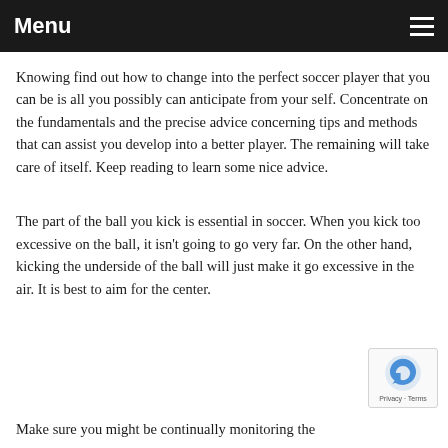Menu
Knowing find out how to change into the perfect soccer player that you can be is all you possibly can anticipate from your self. Concentrate on the fundamentals and the precise advice concerning tips and methods that can assist you develop into a better player. The remaining will take care of itself. Keep reading to learn some nice advice.
The part of the ball you kick is essential in soccer. When you kick too excessive on the ball, it isn't going to go very far. On the other hand, kicking the underside of the ball will just make it go excessive in the air. It is best to aim for the center.
Make sure you might be continually monitoring the